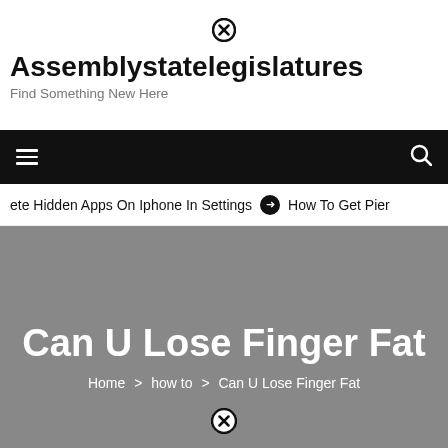⊗
Assemblystatelegislatures
Find Something New Here
≡  🔍
ete Hidden Apps On Iphone In Settings  ➔  How To Get Pier
Can U Lose Finger Fat
Home > how to > Can U Lose Finger Fat
⊗